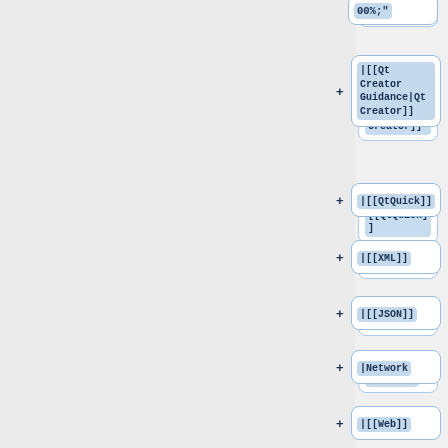[Figure (screenshot): A flowchart/tree diagram showing wiki-style navigation nodes on the right side. Each node is a rounded rectangle with a light blue label inside, preceded by a '+' expand button. Nodes shown (top to bottom): partial '00%;' node at top, '|[[Qt Creator Guidance|Qt Creator]]', '|[[QtQuick]]', '|[[XML]]', '|[[JSON]]', '|Network', '|[[Web]]', '|[[Qt Serial Port|Serial Port]]', '|[[Database]]', and a partial node at bottom. Left side is a gray panel.]